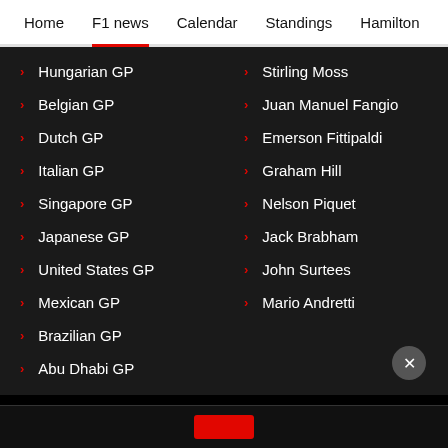Home | F1 news | Calendar | Standings | Hamilton
Hungarian GP
Belgian GP
Dutch GP
Italian GP
Singapore GP
Japanese GP
United States GP
Mexican GP
Brazilian GP
Abu Dhabi GP
Stirling Moss
Juan Manuel Fangio
Emerson Fittipaldi
Graham Hill
Nelson Piquet
Jack Brabham
John Surtees
Mario Andretti